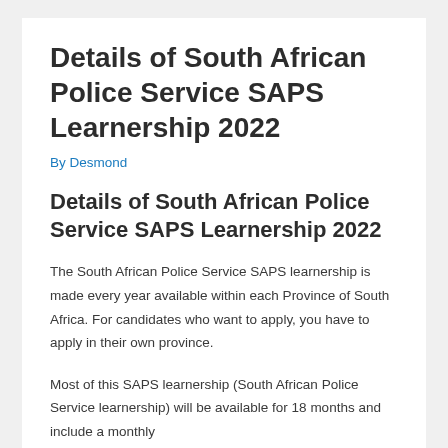Details of South African Police Service SAPS Learnership 2022
By Desmond
Details of South African Police Service SAPS Learnership 2022
The South African Police Service SAPS learnership is made every year available within each Province of South Africa. For candidates who want to apply, you have to apply in their own province.
Most of this SAPS learnership (South African Police Service learnership) will be available for 18 months and include a monthly